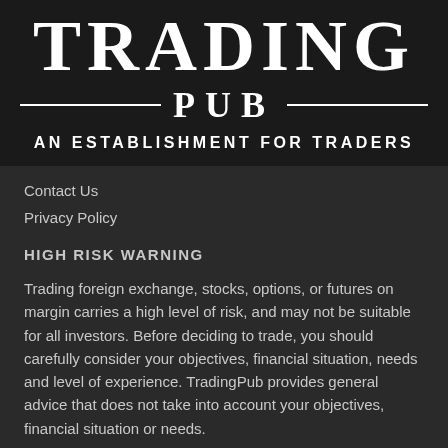TRADING PUB AN ESTABLISHMENT FOR TRADERS
Contact Us
Privacy Policy
HIGH RISK WARNING
Trading foreign exchange, stocks, options, or futures on margin carries a high level of risk, and may not be suitable for all investors. Before deciding to trade, you should carefully consider your objectives, financial situation, needs and level of experience. TradingPub provides general advice that does not take into account your objectives, financial situation or needs.